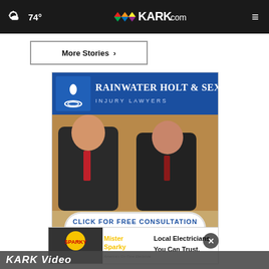74° KARK.com
More Stories ›
[Figure (photo): Advertisement for Rainwater Holt & Sexton Injury Lawyers featuring two male attorneys in suits with text 'CLICK FOR FREE CONSULTATION 501-888-8888']
[Figure (photo): Advertisement for Mister Sparky Local Electricians You Can Trust]
KARK Video